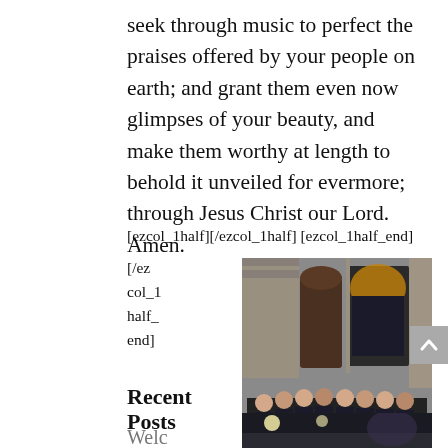seek through music to perfect the praises offered by your people on earth; and grant them even now glimpses of your beauty, and make them worthy at length to behold it unveiled for evermore; through Jesus Christ our Lord. Amen.
[ezcol_1half][/ezcol_1half] [ezcol_1half_end]
[/ez col_1 half_ end]
[Figure (photo): A choir group in dark robes standing in front of a cathedral entrance with ornate stone carvings and stained glass windows]
Recent Posts
Welc
[Figure (photo): Interior of a cathedral or church, partially visible at bottom of page]